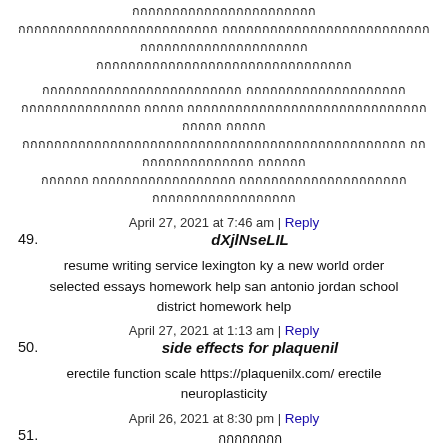[Thai script text - comment body block 1]
[Thai script text - comment body block 2]
April 27, 2021 at 7:46 am | Reply
49. dXjlNseLIL
resume writing service lexington ky a new world order selected essays homework help san antonio jordan school district homework help
April 27, 2021 at 1:13 am | Reply
50. side effects for plaquenil
erectile function scale https://plaquenilx.com/ erectile neuroplasticity
April 26, 2021 at 8:30 pm | Reply
51. [Thai script username]